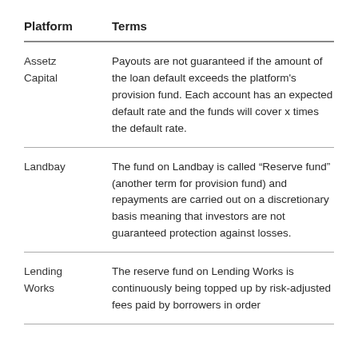| Platform | Terms |
| --- | --- |
| Assetz Capital | Payouts are not guaranteed if the amount of the loan default exceeds the platform’s provision fund. Each account has an expected default rate and the funds will cover x times the default rate. |
| Landbay | The fund on Landbay is called “Reserve fund” (another term for provision fund) and repayments are carried out on a discretionary basis meaning that investors are not guaranteed protection against losses. |
| Lending Works | The reserve fund on Lending Works is continuously being topped up by risk-adjusted fees paid by borrowers in order |